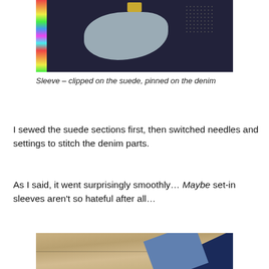[Figure (photo): Close-up photo of a sleeve with colorful fringe/serging on suede edge, gold clip/clasp visible at top, dark navy fabric with light grey curved patch and dotted texture area]
Sleeve – clipped on the suede, pinned on the denim
I sewed the suede sections first, then switched needles and settings to stitch the denim parts.
As I said, it went surprisingly smoothly… Maybe set-in sleeves aren't so hateful after all…
[Figure (photo): Photo of fabric pieces laid on a wooden floor – dark navy denim and lighter blue suede/denim pieces overlapping]